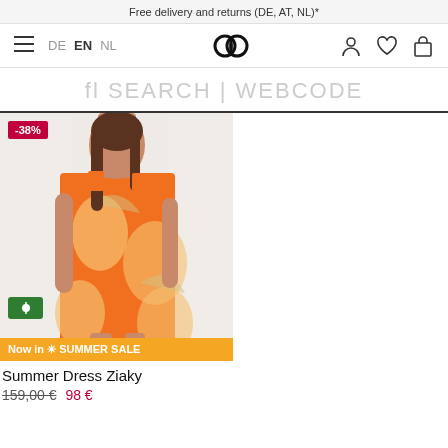Free delivery and returns (DE, AT, NL)*
[Figure (screenshot): Navigation bar with hamburger menu, language selectors (DE, EN, NL), paired-rings logo, and icons for user account, wishlist, and shopping bag]
fl SEARCH | WEBCODE
[Figure (photo): Model wearing an orange floral summer dress (Summer Dress Ziaky) with a -38% discount badge, green color swatch badge, and orange SUMMER SALE banner at the bottom of the image]
Summer Dress Ziaky
159,00 € 98 €